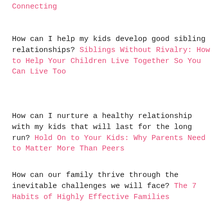Connecting
How can I help my kids develop good sibling relationships? Siblings Without Rivalry: How to Help Your Children Live Together So You Can Live Too
How can I nurture a healthy relationship with my kids that will last for the long run? Hold On to Your Kids: Why Parents Need to Matter More Than Peers
How can our family thrive through the inevitable challenges we will face? The 7 Habits of Highly Effective Families